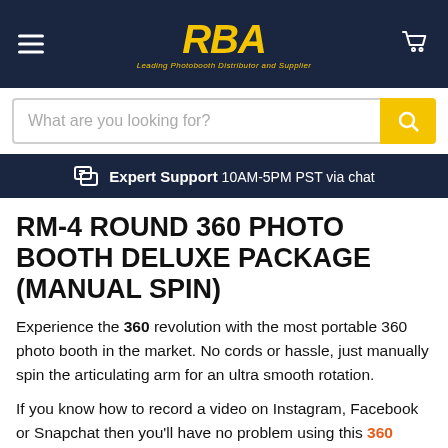RBA — Leading Photobooth Distributor and Supplier
What are you looking for?
Expert Support 10AM-5PM PST via chat
RM-4 ROUND 360 PHOTO BOOTH DELUXE PACKAGE (MANUAL SPIN)
Experience the 360 revolution with the most portable 360 photo booth in the market. No cords or hassle, just manually spin the articulating arm for an ultra smooth rotation.
If you know how to record a video on Instagram, Facebook or Snapchat then you'll have no problem using this 360 photo booth software. Plus, with its easy